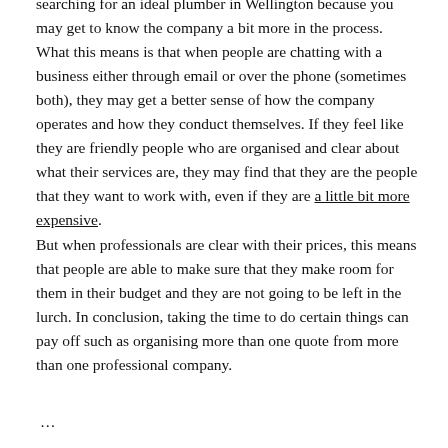searching for an ideal plumber in Wellington because you may get to know the company a bit more in the process. What this means is that when people are chatting with a business either through email or over the phone (sometimes both), they may get a better sense of how the company operates and how they conduct themselves. If they feel like they are friendly people who are organised and clear about what their services are, they may find that they are the people that they want to work with, even if they are a little bit more expensive.
But when professionals are clear with their prices, this means that people are able to make sure that they make room for them in their budget and they are not going to be left in the lurch. In conclusion, taking the time to do certain things can pay off such as organising more than one quote from more than one professional company.
...